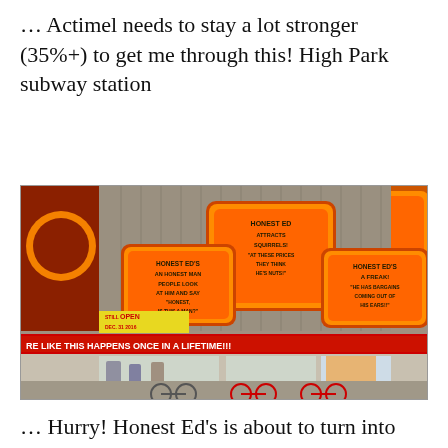… Actimel needs to stay a lot stronger (35%+) to get me through this! High Park subway station
[Figure (photo): Exterior photograph of Honest Ed's store, showing large orange signs with humorous slogans including 'HONEST ED ATTRACTS SQUIRRELS!', 'HONEST ED'S AN HONEST MAN PEOPLE LOOK AT HIM AND SAY HONEST, IS THIS A MAN?', 'HONEST ED'S A FREAK! HE HAS BARGAINS COMING OUT OF HIS EARS!!'. Red banner below reads 'RE LIKE THIS HAPPENS ONCE IN A LIFETIME!!!'. Dated DEC. 31 2016. Bicycles parked in front.]
… Hurry! Honest Ed's is about to turn into